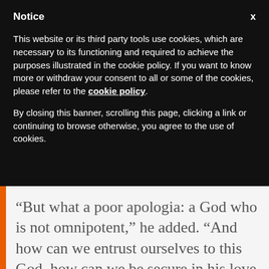Notice
This website or its third party tools use cookies, which are necessary to its functioning and required to achieve the purposes illustrated in the cookie policy. If you want to know more or withdraw your consent to all or some of the cookies, please refer to the cookie policy.
By closing this banner, scrolling this page, clicking a link or continuing to browse otherwise, you agree to the use of cookies.
“But what a poor apologia: a God who is not omnipotent,” he added. “And how can we entrust ourselves to this God, how can we be secure in his love if this love ends where the power of evil begins?”